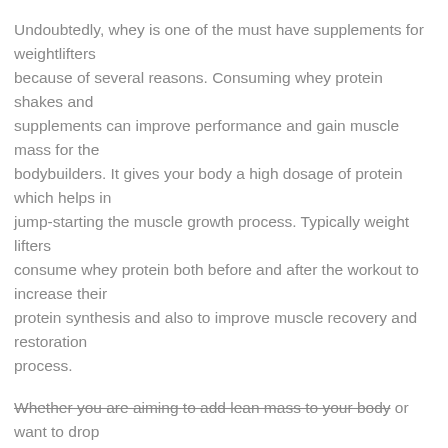Undoubtedly, whey is one of the must have supplements for weightlifters because of several reasons. Consuming whey protein shakes and supplements can improve performance and gain muscle mass for the bodybuilders. It gives your body a high dosage of protein which helps in jump-starting the muscle growth process. Typically weight lifters consume whey protein both before and after the workout to increase their protein synthesis and also to improve muscle recovery and restoration process.
Whether you are aiming to add lean mass to your body or want to drop the extra body fat, adding whey protein to your daily diet can